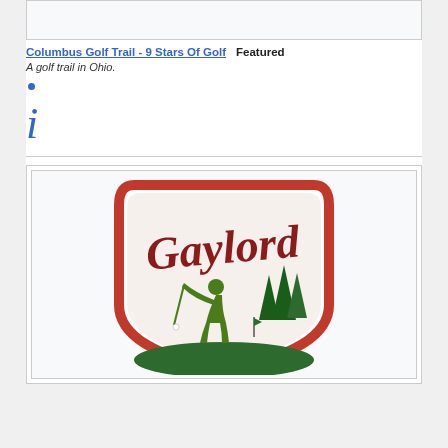[Figure (other): Empty image placeholder box at top]
Columbus Golf Trail - 9 Stars Of Golf   Featured
A golf trail in Ohio.
[Figure (logo): Gaylord golf logo — shield-shaped badge with red border, cursive 'Gaylord' text in red script, and green silhouette of golfer swinging with pine trees in background]